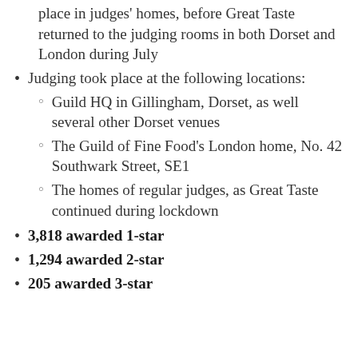place in judges' homes, before Great Taste returned to the judging rooms in both Dorset and London during July
Judging took place at the following locations:
Guild HQ in Gillingham, Dorset, as well several other Dorset venues
The Guild of Fine Food's London home, No. 42 Southwark Street, SE1
The homes of regular judges, as Great Taste continued during lockdown
3,818 awarded 1-star
1,294 awarded 2-star
205 awarded 3-star